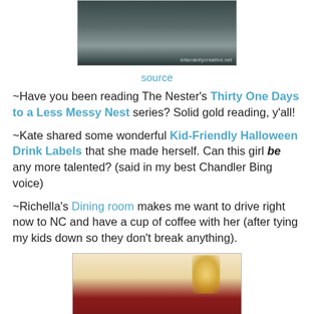[Figure (photo): Photo of a white nightstand/side table with a basket, watermark reads infarrantlycreative.net]
source
~Have you been reading The Nester's Thirty One Days to a Less Messy Nest series? Solid gold reading, y'all!
~Kate shared some wonderful Kid-Friendly Halloween Drink Labels that she made herself. Can this girl be any more talented? (said in my best Chandler Bing voice)
~Richella's Dining room makes me want to drive right now to NC and have a cup of coffee with her (after tying my kids down so they don't break anything).
[Figure (photo): Photo of an elegant dining room with red walls, chandelier, and arched doorways]